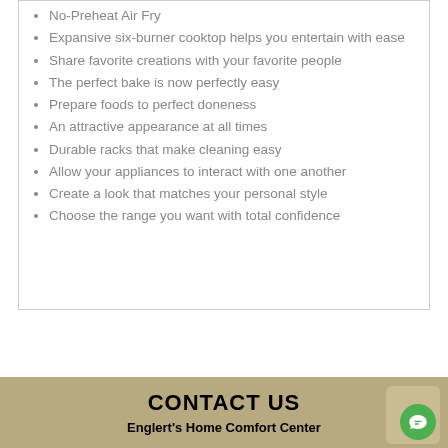No-Preheat Air Fry
Expansive six-burner cooktop helps you entertain with ease
Share favorite creations with your favorite people
The perfect bake is now perfectly easy
Prepare foods to perfect doneness
An attractive appearance at all times
Durable racks that make cleaning easy
Allow your appliances to interact with one another
Create a look that matches your personal style
Choose the range you want with total confidence
CONTACT US
Englert's Home Comfort Center